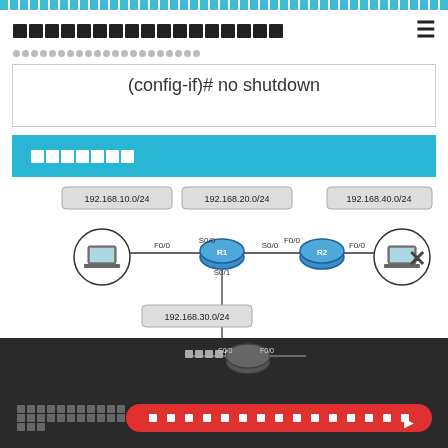[title bar with navigation icon]
[breadcrumb navigation]
[section title block]
[Figure (network-graph): Network topology diagram showing routers R1 and R2 connected via serial links (S0/0), with laptop computers connected via F0/0. Subnets labeled: 192.168.10.0/24, 192.168.20.0/24, 192.168.30.0/24, 192.168.40.0/24. R1 has ports F0/0, S0/0, S0/1. R2 has ports S0/0, F0/0. A third router is partially visible at the bottom with S0/0 and F0/0 labels.]
[footer with navigation button]